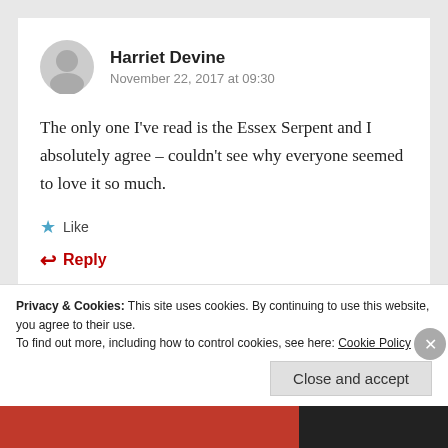Harriet Devine
November 22, 2017 at 09:30
The only one I've read is the Essex Serpent and I absolutely agree – couldn't see why everyone seemed to love it so much.
Like
Reply
Privacy & Cookies: This site uses cookies. By continuing to use this website, you agree to their use.
To find out more, including how to control cookies, see here: Cookie Policy
Close and accept